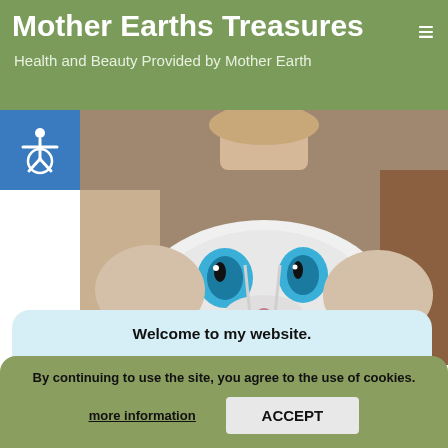Mother Earths Treasures — Health and Beauty Provided by Mother Earth
[Figure (photo): Person wearing a white hoodie with a cat face printed on it featuring large blue eyes, sitting in a chair. Photo covers the upper-center area of the page.]
Welcome to my website.

My name is Taetske.

I hope you find interesting and valuable information here.

If you want more information
By continuing to use the site, you agree to the use of cookies.
more information
ACCEPT